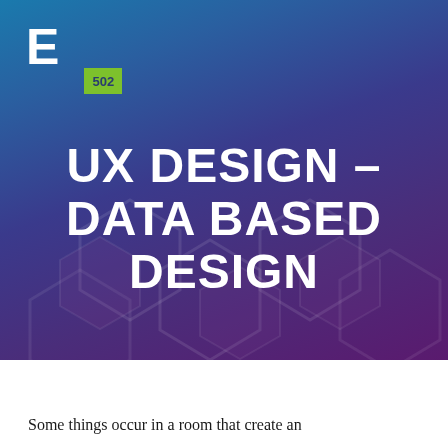[Figure (logo): E3 502 logo — stylized 'E' bracket mark in white on blue, with green block containing '502']
UX DESIGN – DATA BASED DESIGN
Some things occur in a room that create an